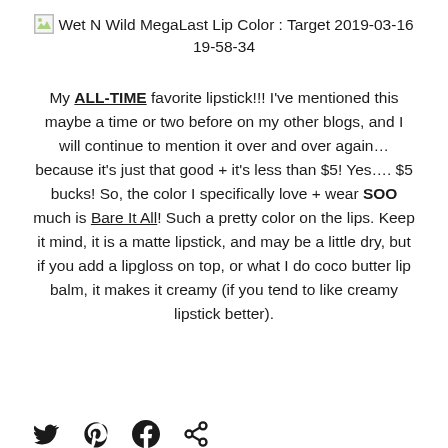[Figure (photo): Broken image placeholder for Wet N Wild MegaLast Lip Color : Target 2019-03-16 19-58-34]
Wet N Wild MegaLast Lip Color : Target 2019-03-16 19-58-34
My ALL-TIME favorite lipstick!!! I've mentioned this maybe a time or two before on my other blogs, and I will continue to mention it over and over again… because it's just that good + it's less than $5! Yes…. $5 bucks! So, the color I specifically love + wear SOO much is Bare It All! Such a pretty color on the lips. Keep it mind, it is a matte lipstick, and may be a little dry, but if you add a lipgloss on top, or what I do coco butter lip balm, it makes it creamy (if you tend to like creamy lipstick better).
[Figure (illustration): Social media share icons: Twitter, Pinterest, Facebook, Share]